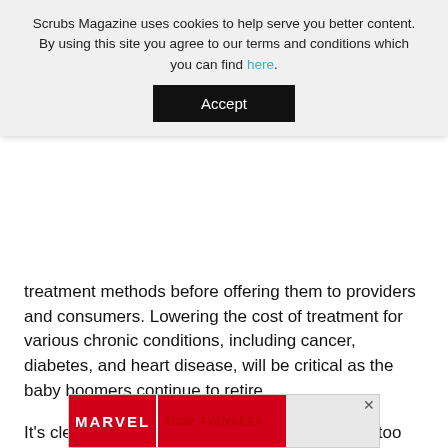Scrubs Magazine uses cookies to help serve you better content. By using this site you agree to our terms and conditions which you can find here.
Accept
treatment methods before offering them to providers and consumers. Lowering the cost of treatment for various chronic conditions, including cancer, diabetes, and heart disease, will be critical as the baby boomers continue to retire.
It's clear that some treatment methods may be too expensive for the U.S. The lower the costs, the healthier your patients will be.
Post Views: 663
[Figure (illustration): Marvel advertisement banner at the bottom of the page showing the Marvel logo and what appears to be a shop/avengers promotion.]